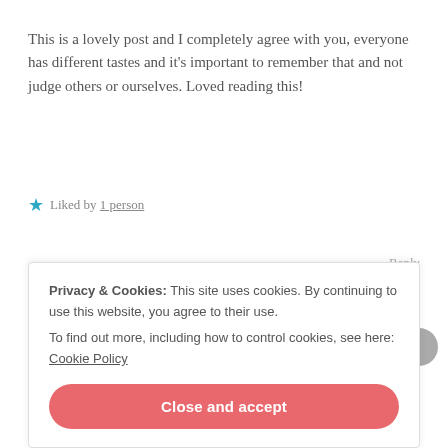This is a lovely post and I completely agree with you, everyone has different tastes and it's important to remember that and not judge others or ourselves. Loved reading this!
★ Liked by 1 person
Reply
Elle - Unwrapping Words
Privacy & Cookies: This site uses cookies. By continuing to use this website, you agree to their use.
To find out more, including how to control cookies, see here: Cookie Policy
Close and accept